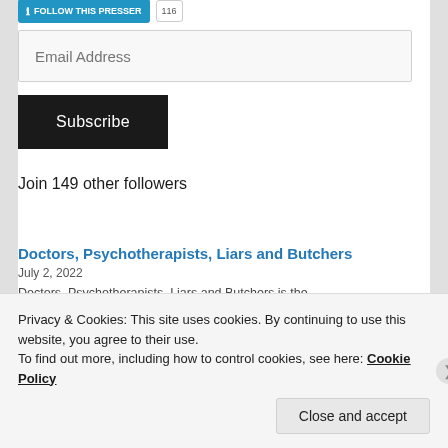[Figure (screenshot): Blue 'FOLLOW THIS PRESSER' button with info icon, and a small count badge next to it]
Email Address
Subscribe
Join 149 other followers
Doctors, Psychotherapists, Liars and Butchers
July 2, 2022
Doctors, Psychotherapists, Liars and Butchers is the
Privacy & Cookies: This site uses cookies. By continuing to use this website, you agree to their use.
To find out more, including how to control cookies, see here: Cookie Policy
Close and accept